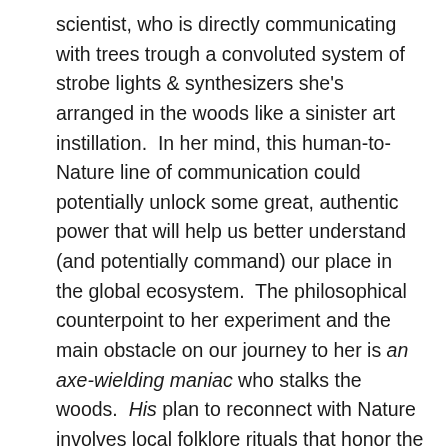scientist, who is directly communicating with trees trough a convoluted system of strobe lights & synthesizers she's arranged in the woods like a sinister art instillation.  In her mind, this human-to-Nature line of communication could potentially unlock some great, authentic power that will help us better understand (and potentially command) our place in the global ecosystem.  The philosophical counterpoint to her experiment and the main obstacle on our journey to her is an axe-wielding maniac who stalks the woods.  His plan to reconnect with Nature involves local folklore rituals that honor the elder god Parnag Fegg, The Spirit of the Woods.  The advocate for science and the advocate for religion are both violently insane, of course, but they have a way of luring in the two new interlopers in the woods with calm, disarmingly kind demeanors that make them vulnerable to their respective antagonist...